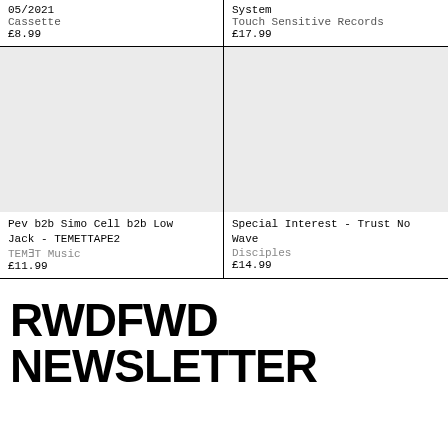05/2021
Cassette
£8.99
System
Touch Sensitive Records
£17.99
[Figure (photo): Product image placeholder for Pev b2b Simo Cell b2b Low Jack - TEMETTAPE2]
[Figure (photo): Product image placeholder for Special Interest - Trust No Wave]
Pev b2b Simo Cell b2b Low Jack - TEMETTAPE2
TEMƎT Music
£11.99
Special Interest - Trust No Wave
Disciples
£14.99
RWDFWD NEWSLETTER